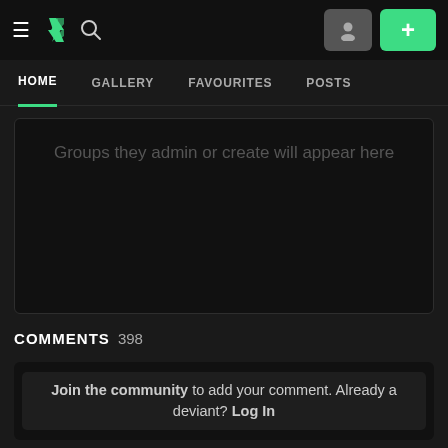DeviantArt navigation bar with hamburger menu, DA logo, search icon, user button, and + button
HOME  GALLERY  FAVOURITES  POSTS
Groups they admin or create will appear here
COMMENTS 398
Join the community to add your comment. Already a deviant? Log In